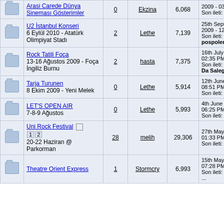|  | Topic | Replies | Author | Views | Last Post |
| --- | --- | --- | --- | --- | --- |
| [icon] | Arasi Carede Dünya Sineması Gösterimler | 0 | Ekzina | 6,068 | 2009 - 03:03... Son ileti: Exz... |
| [icon] | U2 İstanbul Konseri
6 Eylül 2010 - Atatürk Olimpiyat Stadı | 2 | Lethe | 7,139 | 25th September 2009 - 12:23... Son ileti: pospolen |
| [icon] | Rock Tatili Foça
13-16 Ağustos 2009 - Foça İngiliz Burnu | 2 | hasta | 7,375 | 16th July 200... 02:35 PM Son ileti: Bru... Da Salegre |
| [icon] | Tarja Turunen
8 Ekim 2009 - Yeni Melek | 0 | Lethe | 5,914 | 12th June 20... 08:51 PM Son ileti: Let... |
| [icon] | LET'S OPEN AIR
7-8-9 Ağustos | 0 | Lethe | 5,993 | 4th June 200... 06:25 PM Son ileti: Let... |
| [icon] | Uni Rock Festival [1] [2]
20-22 Haziran @ Parkorman | 28 | melih | 29,306 | 27th May 20... 01:33 PM Son ileti: Let... |
| [icon] | Theatre Orient Express | 1 | Stormcry | 6,993 | 15th May 20... 07:28 PM Son ileti: ... |